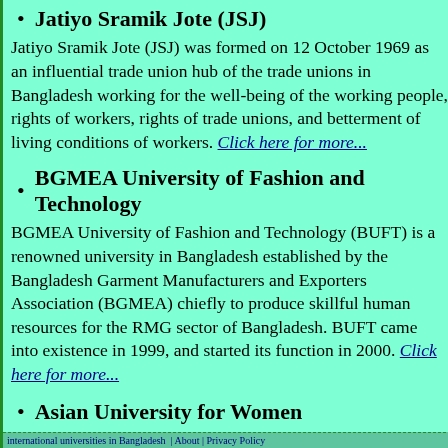Jatiyo Sramik Jote (JSJ)
Jatiyo Sramik Jote (JSJ) was formed on 12 October 1969 as an influential trade union hub of the trade unions in Bangladesh working for the well-being of the working people, rights of workers, rights of trade unions, and betterment of living conditions of workers. Click here for more...
BGMEA University of Fashion and Technology
BGMEA University of Fashion and Technology (BUFT) is a renowned university in Bangladesh established by the Bangladesh Garment Manufacturers and Exporters Association (BGMEA) chiefly to produce skillful human resources for the RMG sector of Bangladesh. BUFT came into existence in 1999, and started its function in 2000. Click here for more...
Asian University for Women
Asian University for Women (AUW) is the first liberal arts university for women in South Asia. AUW was established in 2006, and started its operations in March 2008. The University is located at Pahartali Chittagong, Bangladesh. Asian University for Women is one of the international universities in Bangladesh.
international universities in Bangladesh | About | Privacy Policy